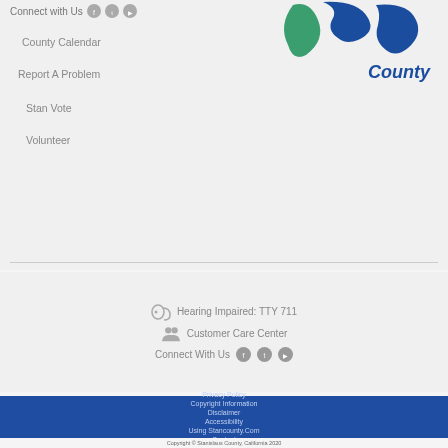Connect with Us
County Calendar
Report A Problem
Stan Vote
Volunteer
[Figure (logo): Stanislaus County logo with green and blue shapes and text 'County']
Hearing Impaired: TTY 711
Customer Care Center
Connect With Us
Privacy Policy
Copyright Information
Disclaimer
Accessibility
Using Stancounty.Com
Contact
Copyright © Stanislaus County, California 2020